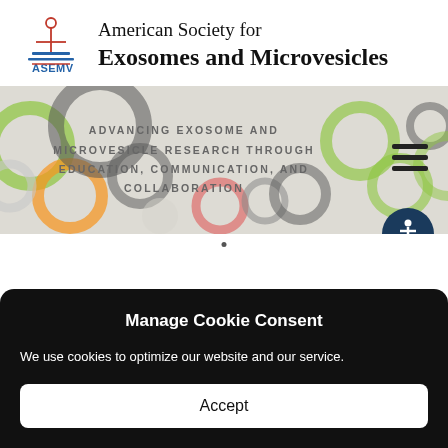[Figure (logo): ASEMV logo with stylized figure and text 'American Society for Exosomes and Microvesicles']
[Figure (infographic): Banner with colorful overlapping circles and text 'ADVANCING EXOSOME AND MICROVESICLE RESEARCH THROUGH EDUCATION, COMMUNICATION, AND COLLABORATION' with hamburger menu icon and accessibility button]
Manage Cookie Consent
We use cookies to optimize our website and our service.
Accept